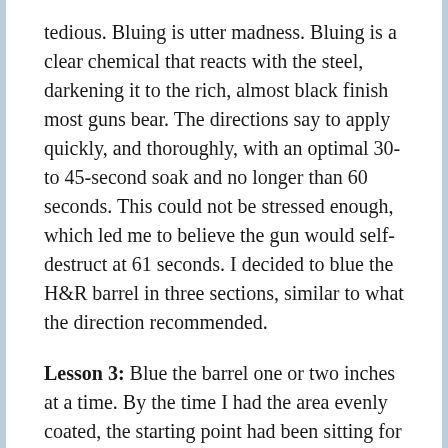tedious. Bluing is utter madness. Bluing is a clear chemical that reacts with the steel, darkening it to the rich, almost black finish most guns bear. The directions say to apply quickly, and thoroughly, with an optimal 30-to 45-second soak and no longer than 60 seconds. This could not be stressed enough, which led me to believe the gun would self-destruct at 61 seconds. I decided to blue the H&R barrel in three sections, similar to what the direction recommended.
Lesson 3: Blue the barrel one or two inches at a time. By the time I had the area evenly coated, the starting point had been sitting for 20 seconds, leaving an uneven soak time before washing in cold water and breaking the chemical reaction.